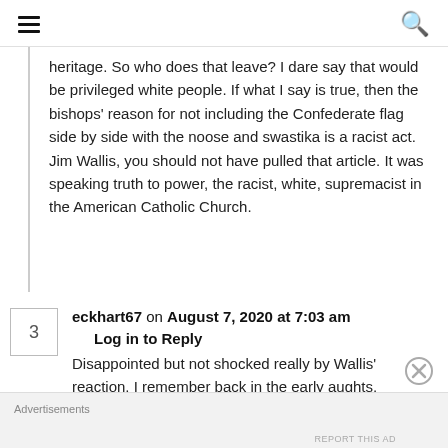Menu | Search
heritage. So who does that leave? I dare say that would be privileged white people. If what I say is true, then the bishops' reason for not including the Confederate flag side by side with the noose and swastika is a racist act. Jim Wallis, you should not have pulled that article. It was speaking truth to power, the racist, white, supremacist in the American Catholic Church.
eckhart67 on August 7, 2020 at 7:03 am
Log in to Reply
Disappointed but not shocked really by Wallis' reaction. I remember back in the early aughts,
Advertisements